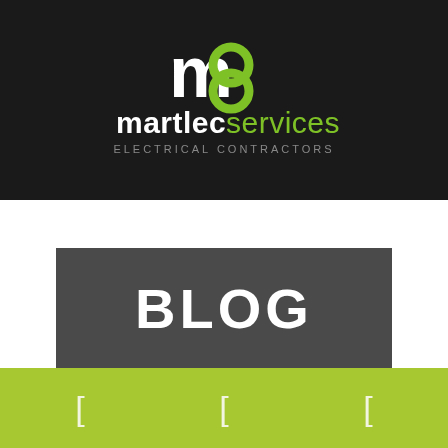[Figure (logo): Martlec Services Electrical Contractors logo on dark background. White and green 'm' symbol with stylized letter forms, bold white 'martlec' text and lighter grey 'services' text, with 'ELECTRICAL CONTRACTORS' subtitle in grey.]
BLOG
[Figure (other): Green footer bar with three white bracket/icon symbols evenly spaced.]